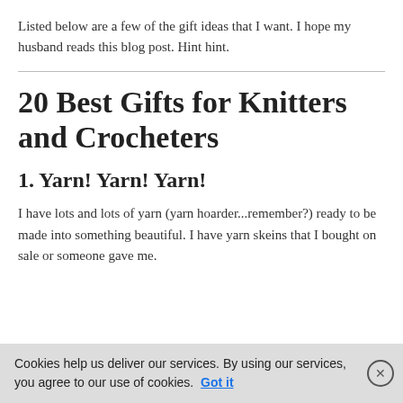Listed below are a few of the gift ideas that I want. I hope my husband reads this blog post. Hint hint.
20 Best Gifts for Knitters and Crocheters
1. Yarn! Yarn! Yarn!
I have lots and lots of yarn (yarn hoarder...remember?) ready to be made into something beautiful. I have yarn skeins that I bought on sale or someone gave me.
Cookies help us deliver our services. By using our services, you agree to our use of cookies. Got it